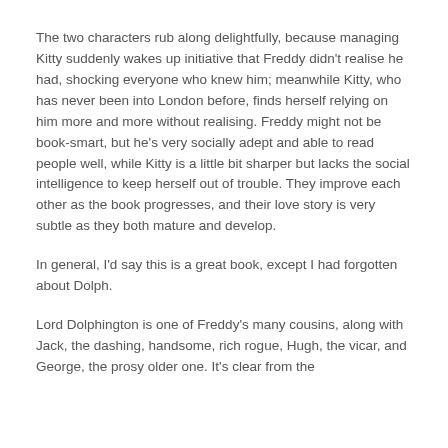The two characters rub along delightfully, because managing Kitty suddenly wakes up initiative that Freddy didn't realise he had, shocking everyone who knew him; meanwhile Kitty, who has never been into London before, finds herself relying on him more and more without realising. Freddy might not be book-smart, but he's very socially adept and able to read people well, while Kitty is a little bit sharper but lacks the social intelligence to keep herself out of trouble. They improve each other as the book progresses, and their love story is very subtle as they both mature and develop.
In general, I'd say this is a great book, except I had forgotten about Dolph.
Lord Dolphington is one of Freddy's many cousins, along with Jack, the dashing, handsome, rich rogue, Hugh, the vicar, and George, the prosy older one. It's clear from the